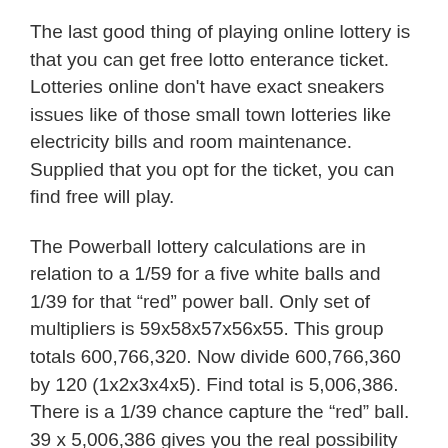The last good thing of playing online lottery is that you can get free lotto enterance ticket. Lotteries online don't have exact sneakers issues like of those small town lotteries like electricity bills and room maintenance. Supplied that you opt for the ticket, you can find free will play.
The Powerball lottery calculations are in relation to a 1/59 for a five white balls and 1/39 for that “red” power ball. Only set of multipliers is 59x58x57x56x55. This group totals 600,766,320. Now divide 600,766,360 by 120 (1x2x3x4x5). Find total is 5,006,386. There is a 1/39 chance capture the “red” ball. 39 x 5,006,386 gives you the real possibility of winning the Powerball Jackpot, namely 195,249,054 to step 1.
You might say that 20 bucks is not really that much, even if you online lottery website never discover them back.